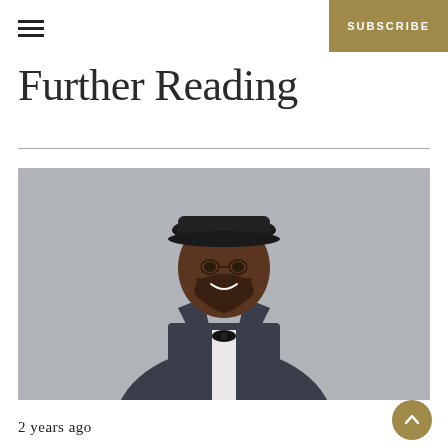SUBSCRIBE
Further Reading
[Figure (photo): Portrait of a smiling man wearing a black flat cap, dark suit with satin lapels, white dress shirt, and black bow tie, against a grey background.]
2 years ago